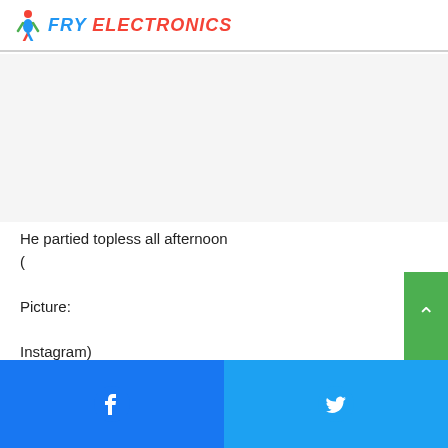FRY ELECTRONICS
He partied topless all afternoon
(

Picture:

Instagram)
Tyson celebrated well after his incredible win over Derek Whyte on Saturday night by breaking the fizz at a TOWIE
Facebook | Twitter